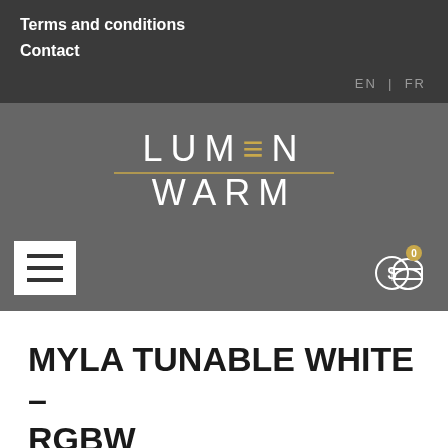Terms and conditions
Contact
EN | FR
[Figure (logo): Lumen Warm logo — stylized text LUMEN WARM with a horizontal golden line separator between the two words]
[Figure (illustration): Hamburger menu icon (three horizontal lines) on white background, and a shopping cart / coin icon with a badge showing 0]
MYLA TUNABLE WHITE – RGBW